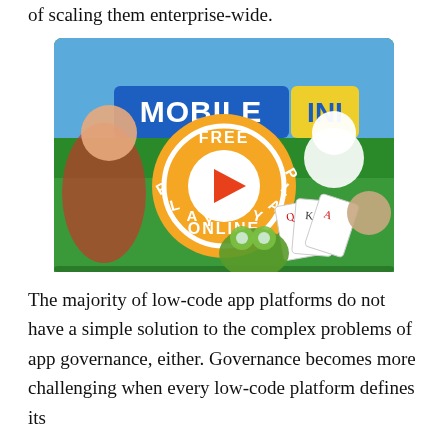of scaling them enterprise-wide.
[Figure (illustration): Mobile gaming promotional image showing 'MOBILE INI' logo with colorful cartoon game characters, a central orange 'FREE PLAY ONLINE' button with a play triangle icon, and various game characters including a warrior, a Santa Claus character, a green monster, playing cards, and a cartoon girl.]
The majority of low-code app platforms do not have a simple solution to the complex problems of app governance, either. Governance becomes more challenging when every low-code platform defines its